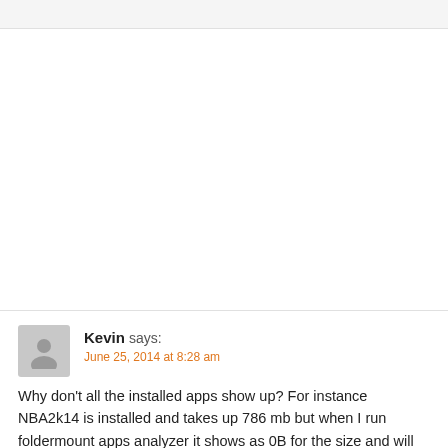Kevin says:
June 25, 2014 at 8:28 am
Why don't all the installed apps show up? For instance NBA2k14 is installed and takes up 786 mb but when I run foldermount apps analyzer it shows as 0B for the size and will not let me move it to the external storage.